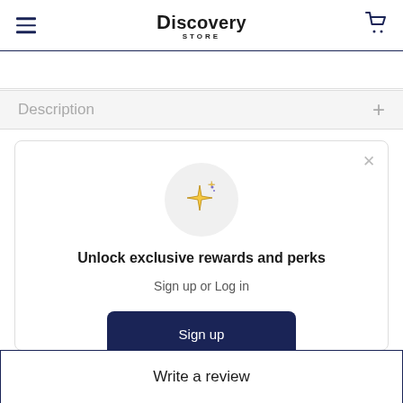Discovery Store
Description +
[Figure (illustration): Sparkle/stars emoji icon in a light gray circle]
Unlock exclusive rewards and perks
Sign up or Log in
Sign up
Already have an account? Sign in
Write a review